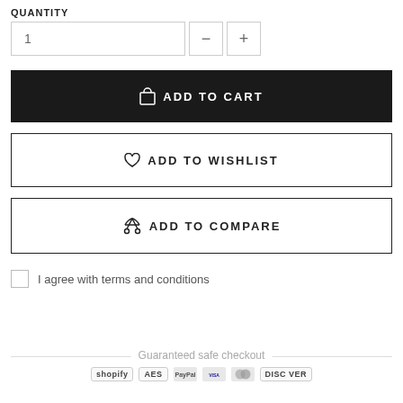QUANTITY
1
ADD TO CART
ADD TO WISHLIST
ADD TO COMPARE
I agree with terms and conditions
Guaranteed safe checkout
shopify  AES  VISA  DISCOVER